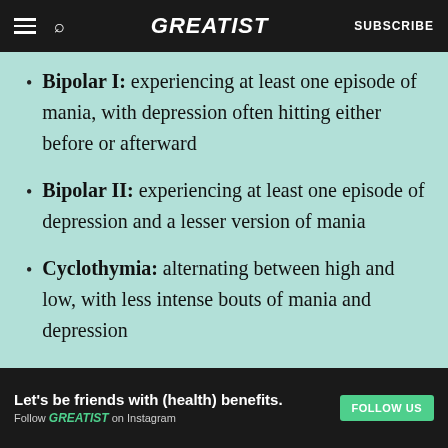GREATIST | SUBSCRIBE
Bipolar I: experiencing at least one episode of mania, with depression often hitting either before or afterward
Bipolar II: experiencing at least one episode of depression and a lesser version of mania
Cyclothymia: alternating between high and low, with less intense bouts of mania and depression
Causes
ADVERTISEMENT
Let's be friends with (health) benefits. Follow GREATIST on Instagram FOLLOW US